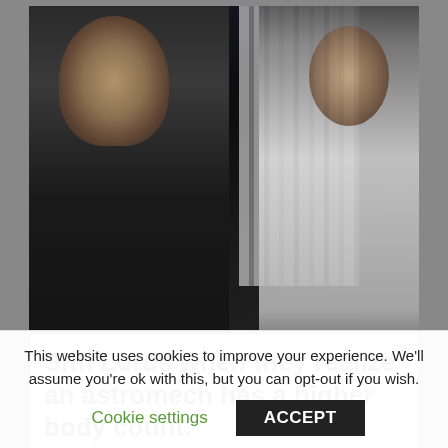[Figure (photo): Movie still from Star Wars showing Grand Moff Tarkin on the left and Princess Leia on the right, with background Death Star panels. Yellow subtitle text reads: 'You may fire when ready.']
Sith Lords when they realize an astromech has a higher body count.
This website uses cookies to improve your experience. We'll assume you're ok with this, but you can opt-out if you wish.
Cookie settings
ACCEPT